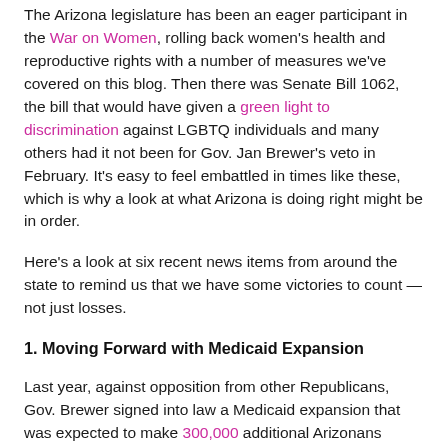The Arizona legislature has been an eager participant in the War on Women, rolling back women's health and reproductive rights with a number of measures we've covered on this blog. Then there was Senate Bill 1062, the bill that would have given a green light to discrimination against LGBTQ individuals and many others had it not been for Gov. Jan Brewer's veto in February. It's easy to feel embattled in times like these, which is why a look at what Arizona is doing right might be in order.
Here's a look at six recent news items from around the state to remind us that we have some victories to count — not just losses.
1. Moving Forward with Medicaid Expansion
Last year, against opposition from other Republicans, Gov. Brewer signed into law a Medicaid expansion that was expected to make 300,000 additional Arizonans eligible for coverage. Brewer stated that the expansion would also protect hospitals from the costs associated